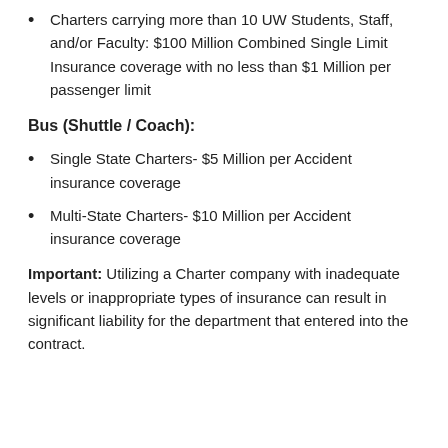Charters carrying more than 10 UW Students, Staff, and/or Faculty: $100 Million Combined Single Limit Insurance coverage with no less than $1 Million per passenger limit
Bus (Shuttle / Coach):
Single State Charters- $5 Million per Accident insurance coverage
Multi-State Charters- $10 Million per Accident insurance coverage
Important: Utilizing a Charter company with inadequate levels or inappropriate types of insurance can result in significant liability for the department that entered into the contract.